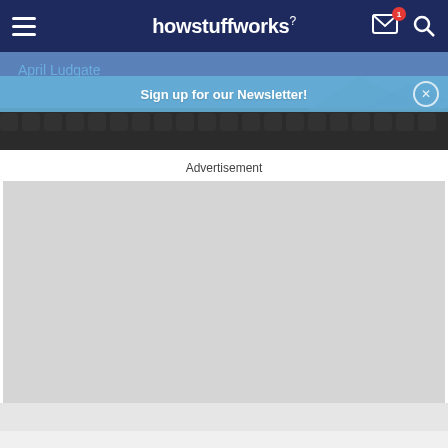howstuffworks
[Figure (screenshot): Hero image area with 'April Ludgate' text in blue on a blue/grey background, with a dark textured pattern at the bottom]
Sign up for our Newsletter!
Advertisement
[Figure (other): Large grey advertisement placeholder block]